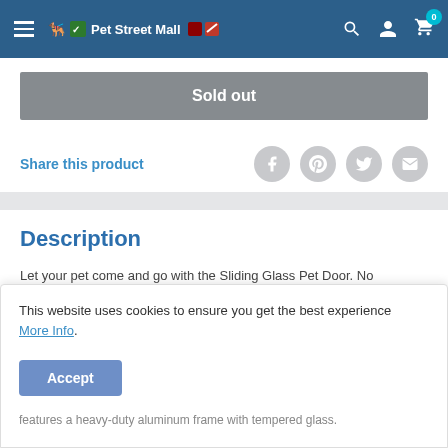Pet Street Mall
Sold out
Share this product
Description
Let your pet come and go with the Sliding Glass Pet Door. No
This website uses cookies to ensure you get the best experience More Info. Accept
features a heavy-duty aluminum frame with tempered glass.